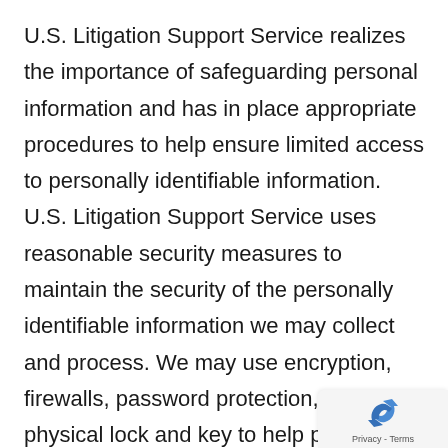U.S. Litigation Support Service realizes the importance of safeguarding personal information and has in place appropriate procedures to help ensure limited access to personally identifiable information. U.S. Litigation Support Service uses reasonable security measures to maintain the security of the personally identifiable information we may collect and process. We may use encryption, firewalls, password protection, and physical lock and key to help prevent unauthorized access to your personally identifiable information. We may also place internal restrictions on who in the company may access data to help prevent unauthorized access to your personally identifiable information
[Figure (logo): Google reCAPTCHA logo with Privacy - Terms text below]